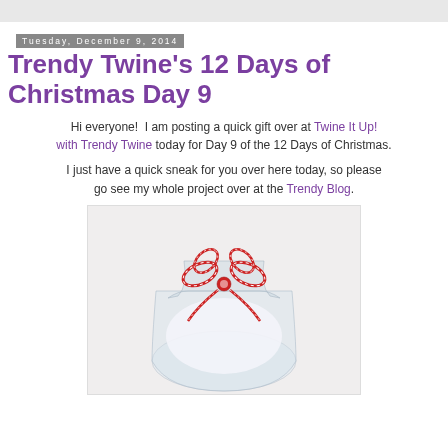Tuesday, December 9, 2014
Trendy Twine's 12 Days of Christmas Day 9
Hi everyone!  I am posting a quick gift over at Twine It Up! with Trendy Twine today for Day 9 of the 12 Days of Christmas.
I just have a quick sneak for you over here today, so please go see my whole project over at the Trendy Blog.
[Figure (photo): A clear cellophane gift bag tied with a red and white striped twine bow, containing white contents, photographed on a white background.]